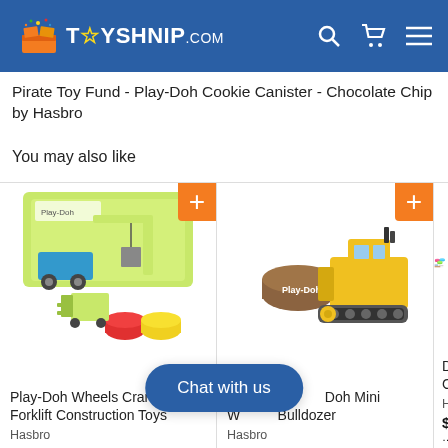TOYSHNIP.COM
Pirate Toy Fund - Play-Doh Cookie Canister - Chocolate Chip by Hasbro
You may also like
[Figure (photo): Play-Doh Wheels Crane and Forklift Construction Toys product image showing colorful Play-Doh construction vehicles and accessories]
Play-Doh Wheels Crane and Forklift Construction Toys
Hasbro
[Figure (photo): Pirate Toy Play-Doh Mini Wheels Bulldozer product image showing yellow bulldozer toy with Play-Doh can]
Pirate Toy Play-Doh Mini Wheels Bulldozer
Hasbro
[Figure (photo): Disney Creations product image showing colorful Play-Doh containers and accessories]
Disney Creations
Hasbro
$9.97